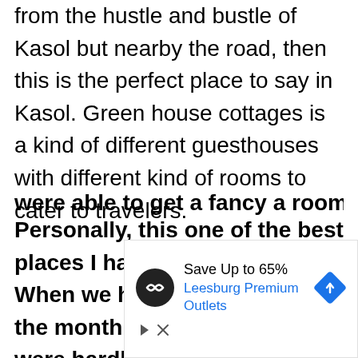from the hustle and bustle of Kasol but nearby the road, then this is the perfect place to say in Kasol. Green house cottages is a kind of different guesthouses with different kind of rooms to cater to travelers.
Personally, this one of the best places I had stayed In Kasol. When we had been to Kasol In the month of February, there were hardly any travelers. So we were able to get a fancy a room for
[Figure (infographic): Advertisement banner: Save Up to 65% Leesburg Premium Outlets with navigation icon and ad controls]